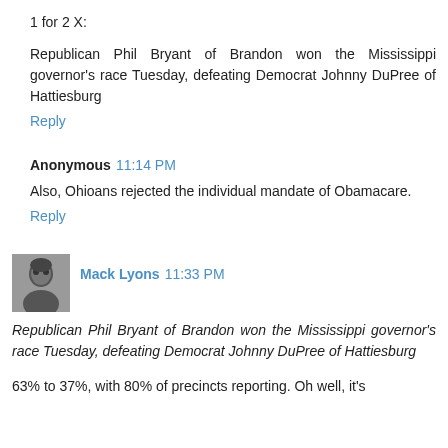1 for 2 X:
Republican Phil Bryant of Brandon won the Mississippi governor's race Tuesday, defeating Democrat Johnny DuPree of Hattiesburg
Reply
Anonymous 11:14 PM
Also, Ohioans rejected the individual mandate of Obamacare.
Reply
Mack Lyons 11:33 PM
Republican Phil Bryant of Brandon won the Mississippi governor's race Tuesday, defeating Democrat Johnny DuPree of Hattiesburg
63% to 37%, with 80% of precincts reporting. Oh well, it's